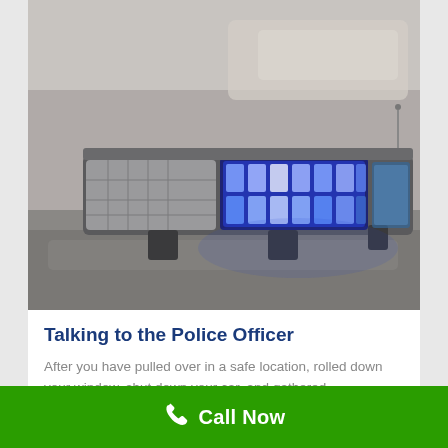[Figure (photo): Close-up of blue LED police light bar mounted on top of a police car, with blurred vehicles in the background.]
Talking to the Police Officer
After you have pulled over in a safe location, rolled down your window, shut down your car, and gathered...